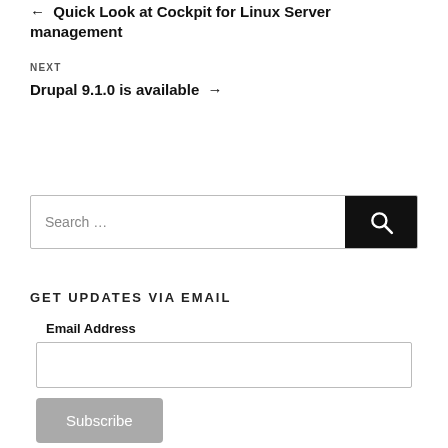← Quick Look at Cockpit for Linux Server management
NEXT
Drupal 9.1.0 is available →
Search …
GET UPDATES VIA EMAIL
Email Address
Subscribe